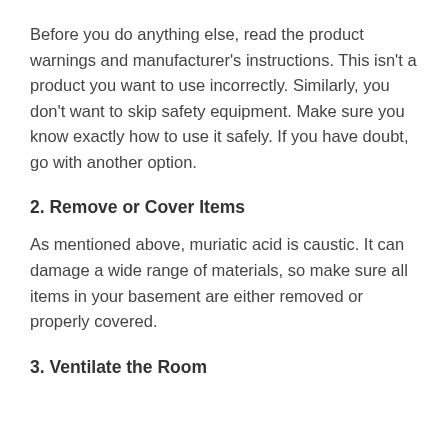Before you do anything else, read the product warnings and manufacturer's instructions. This isn't a product you want to use incorrectly. Similarly, you don't want to skip safety equipment. Make sure you know exactly how to use it safely. If you have doubt, go with another option.
2. Remove or Cover Items
As mentioned above, muriatic acid is caustic. It can damage a wide range of materials, so make sure all items in your basement are either removed or properly covered.
3. Ventilate the Room